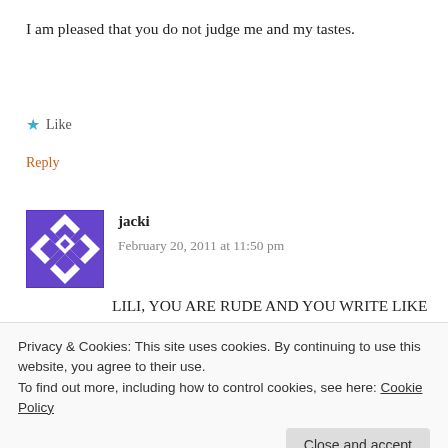I am pleased that you do not judge me and my tastes.
★ Like
Reply
[Figure (illustration): Purple geometric/quilt pattern avatar for user jacki]
jacki
February 20, 2011 at 11:50 pm
LILI, YOU ARE RUDE AND YOU WRITE LIKE YOUR BETTER THEN PEOPLE, EVEN IN ALL YOUR OTHER POSTS, YOUR RUDE GET OVER YOURSELF. I
Privacy & Cookies: This site uses cookies. By continuing to use this website, you agree to their use.
To find out more, including how to control cookies, see here: Cookie Policy
Close and accept
STUPID THINGS THAT DONT HURT